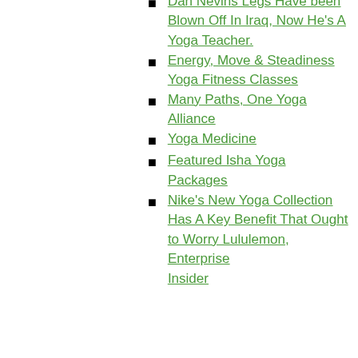Cyndi Lee Yoga
Methods, Types, Philosophy, And Dangers
10 Of The Best Yoga Holidays In UK And Europe
Yoga Classes
Dan Nevins Legs Have been Blown Off In Iraq, Now He's A Yoga Teacher.
Energy, Move & Steadiness Yoga Fitness Classes
Many Paths, One Yoga Alliance
Yoga Medicine
Featured Isha Yoga Packages
Nike's New Yoga Collection Has A Key Benefit That Ought to Worry Lululemon, Enterprise Insider